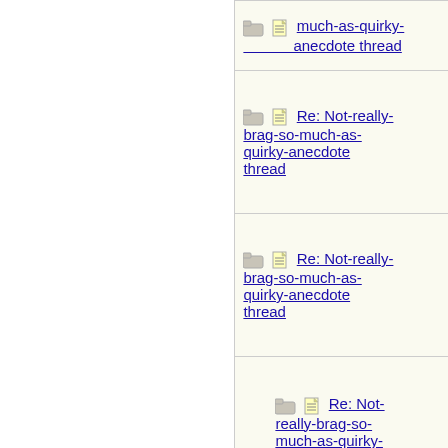| Subject | Author |
| --- | --- |
| Re: Not-really-brag-so-much-as-quirky-anecdote thread | Cassmo4... |
| Re: Not-really-brag-so-much-as-quirky-anecdote thread | HowlerKa... |
| Re: Not-really-brag-so-much-as-quirky-anecdote thread | AvoCado... |
| Re: Not-really-brag-so-much-as-quirky-anecdote thread | Zen Scan... |
| Re: Not-really-brag-so-much-as-quirky-anecdote thread | Mana |
| Re: Not-really-brag-so-much-as-quirky-anecdote thread | aquinas |
| Re: Not-really-brag-so-much-as-quirky-anecdote thread | SAHM |